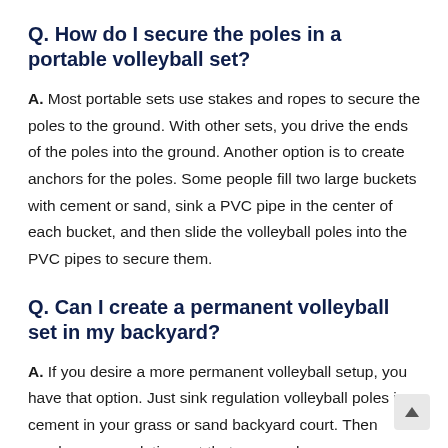Q. How do I secure the poles in a portable volleyball set?
A. Most portable sets use stakes and ropes to secure the poles to the ground. With other sets, you drive the ends of the poles into the ground. Another option is to create anchors for the poles. Some people fill two large buckets with cement or sand, sink a PVC pipe in the center of each bucket, and then slide the volleyball poles into the PVC pipes to secure them.
Q. Can I create a permanent volleyball set in my backyard?
A. If you desire a more permanent volleyball setup, you have that option. Just sink regulation volleyball poles in cement in your grass or sand backyard court. Then purchase a regulation net that you can hang games or practice and take down for storage.